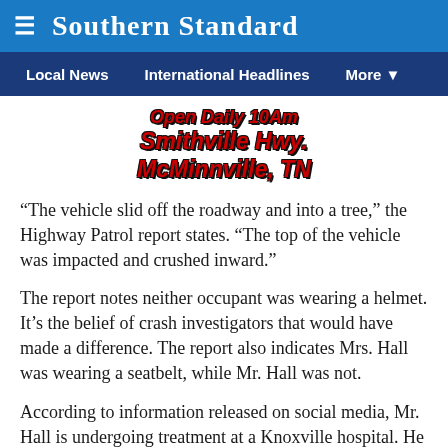Southern Standard
Local News   International Headlines   More
[Figure (other): Advertisement banner: Open Daily 10Am, Smithville Hwy., McMinnville, TN in bold red italic text with dark outline]
“The vehicle slid off the roadway and into a tree,” the Highway Patrol report states. “The top of the vehicle was impacted and crushed inward.”
The report notes neither occupant was wearing a helmet. It’s the belief of crash investigators that would have made a difference. The report also indicates Mrs. Hall was wearing a seatbelt, while Mr. Hall was not.
According to information released on social media, Mr. Hall is undergoing treatment at a Knoxville hospital. He is said to have suffered head and internal injuries.